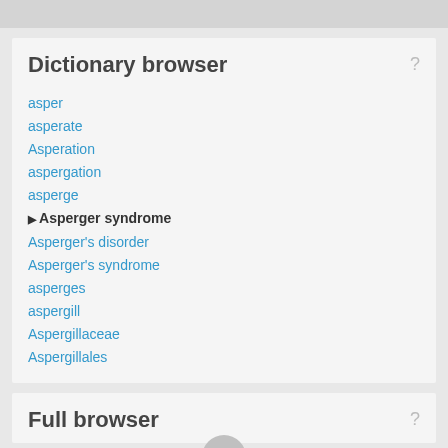Dictionary browser
asper
asperate
Asperation
aspergation
asperge
Asperger syndrome (current)
Asperger's disorder
Asperger's syndrome
asperges
aspergill
Aspergillaceae
Aspergillales
Full browser